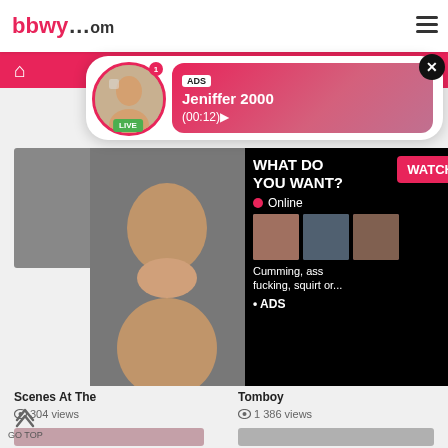bbwy...om
[Figure (screenshot): Live ad popup showing a woman's photo with LIVE badge, ADS label, name Jeniffer 2000, time (00:12), and close button]
[Figure (screenshot): Adult content advertisement overlay: WHAT DO YOU WANT? with WATCH button, Online indicator, thumbnail images, text 'Cumming, ass fucking, squirt or...' and ADS label]
Scenes At The
304 views
Tomboy
1 386 views
GO TOP